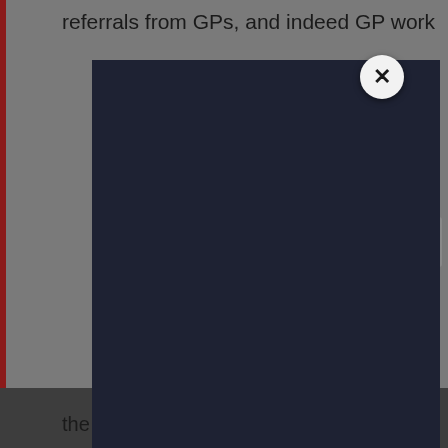referrals from GPs, and indeed GP workload
[Figure (screenshot): Dark navy modal overlay dialog box covering most of the visible document page, with a circular close (X) button in the top-right corner of the modal]
the stage 4 lockdown policy has caused
Share This
×